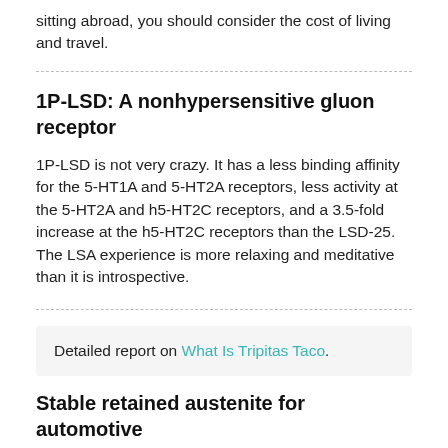sitting abroad, you should consider the cost of living and travel.
1P-LSD: A nonhypersensitive gluon receptor
1P-LSD is not very crazy. It has a less binding affinity for the 5-HT1A and 5-HT2A receptors, less activity at the 5-HT2A and h5-HT2C receptors, and a 3.5-fold increase at the h5-HT2C receptors than the LSD-25. The LSA experience is more relaxing and meditative than it is introspective.
Detailed report on What Is Tripitas Taco.
Stable retained austenite for automotive